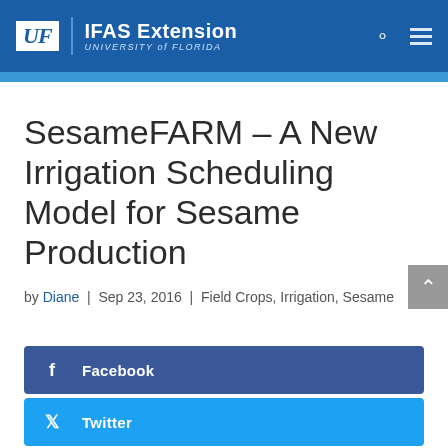UF | IFAS Extension — University of Florida
SesameFARM – A New Irrigation Scheduling Model for Sesame Production
by Diane | Sep 23, 2016 | Field Crops, Irrigation, Sesame
[Figure (other): Facebook share button (dark blue)]
[Figure (other): Twitter share button (light blue)]